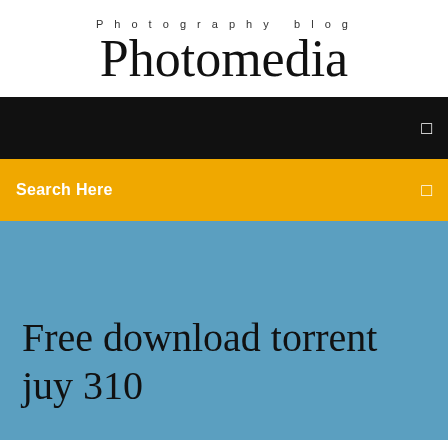Photography blog
Photomedia
[Figure (screenshot): Black navigation bar with a small white square/menu icon on the right]
Search Here
Free download torrent juy 310